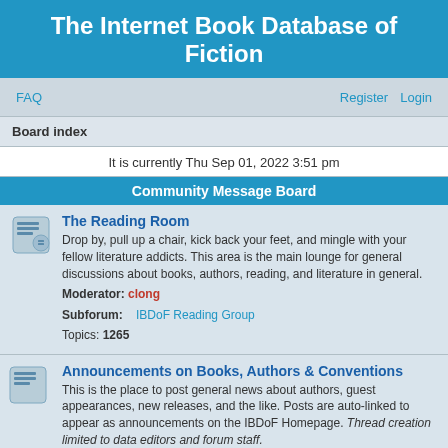The Internet Book Database of Fiction
FAQ   Register   Login
Board index
It is currently Thu Sep 01, 2022 3:51 pm
Community Message Board
The Reading Room
Drop by, pull up a chair, kick back your feet, and mingle with your fellow literature addicts. This area is the main lounge for general discussions about books, authors, reading, and literature in general.
Moderator: clong
subforum: IBDoF Reading Group
Topics: 1265
Announcements on Books, Authors & Conventions
This is the place to post general news about authors, guest appearances, new releases, and the like. Posts are auto-linked to appear as announcements on the IBDoF Homepage. Thread creation limited to data editors and forum staff.
Topics: 265
The Margins
This is the place for OT discussions of your favorite movies, TV shows, music, cultural trends and fads, or other non-literature-related topics.
Subforums: The Appendix, The Tap Room
Topics: 887
Ask The Oracle
This is the place if you are trying to remember the name of a book you read